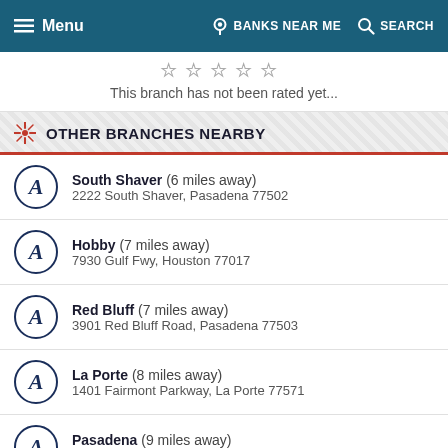Menu | BANKS NEAR ME | SEARCH
This branch has not been rated yet...
OTHER BRANCHES NEARBY
South Shaver (6 miles away)
2222 South Shaver, Pasadena 77502
Hobby (7 miles away)
7930 Gulf Fwy, Houston 77017
Red Bluff (7 miles away)
3901 Red Bluff Road, Pasadena 77503
La Porte (8 miles away)
1401 Fairmont Parkway, La Porte 77571
Pasadena (9 miles away)
4500 Fairmont Parkway, Pasadena 77504
Esperson (9 miles away)
815 Walker St., Houston 77002